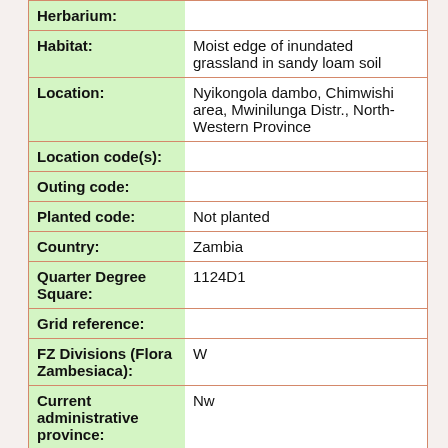| Field | Value |
| --- | --- |
| Herbarium: |  |
| Habitat: | Moist edge of inundated grassland in sandy loam soil |
| Location: | Nyikongola dambo, Chimwishi area, Mwinilunga Distr., North-Western Province |
| Location code(s): |  |
| Outing code: |  |
| Planted code: | Not planted |
| Country: | Zambia |
| Quarter Degree Square: | 1124D1 |
| Grid reference: |  |
| FZ Divisions (Flora Zambesiaca): | W |
| Current administrative province: | Nw |